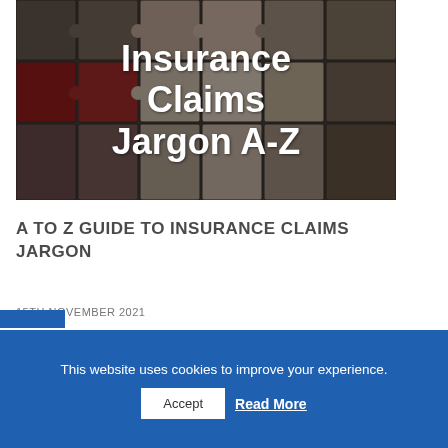[Figure (photo): Jigsaw puzzle pieces close-up in dark tones with white text overlay reading 'Insurance Claims Jargon A-Z']
A TO Z GUIDE TO INSURANCE CLAIMS JARGON
15TH NOVEMBER 2021
This website uses cookies to improve your experience.
Accept  Read More